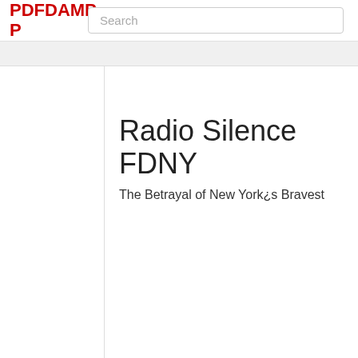PDFDAMP
Radio Silence FDNY
The Betrayal of New York¿s Bravest